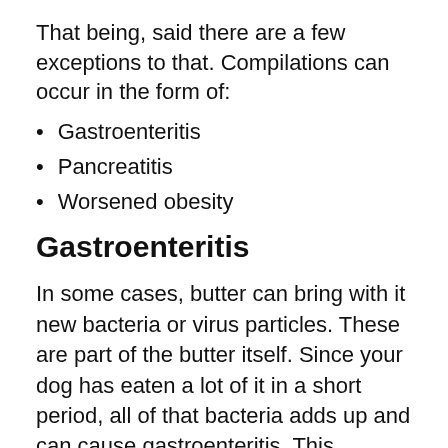That being, said there are a few exceptions to that. Compilations can occur in the form of:
Gastroenteritis
Pancreatitis
Worsened obesity
Gastroenteritis
In some cases, butter can bring with it new bacteria or virus particles. These are part of the butter itself. Since your dog has eaten a lot of it in a short period, all of that bacteria adds up and can cause gastroenteritis. This